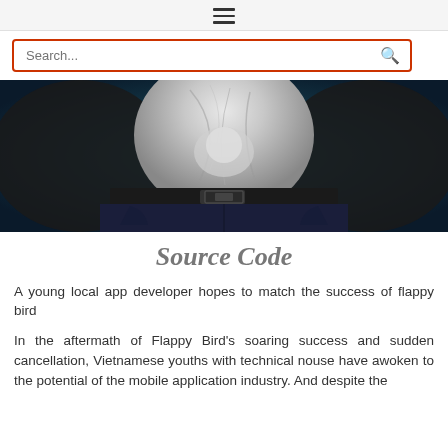☰ (hamburger menu icon)
[Figure (screenshot): Search bar with orange/red border and magnifying glass icon on right. Placeholder text reads 'Search...']
[Figure (photo): Close-up photo of a person's torso wearing a white dress shirt tucked into dark jeans with a black belt. Dark teal/blue background.]
Source Code
A young local app developer hopes to match the success of flappy bird
In the aftermath of Flappy Bird's soaring success and sudden cancellation, Vietnamese youths with technical nouse have awoken to the potential of the mobile application industry. And despite the